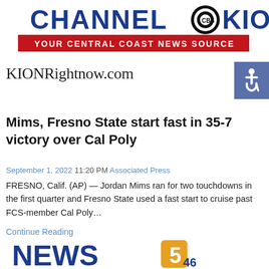[Figure (logo): CHANNEL CBS KION - YOUR CENTRAL COAST NEWS SOURCE logo banner]
KIONRightnow.com
[Figure (logo): Blue and white wheelchair accessibility icon on blue-grey background]
Mims, Fresno State start fast in 35-7 victory over Cal Poly
September 1, 2022 11:20 PM Associated Press
FRESNO, Calif. (AP) — Jordan Mims ran for two touchdowns in the first quarter and Fresno State used a fast start to cruise past FCS-member Cal Poly…
Continue Reading
[Figure (logo): NEWS CHANNEL 5 46 logo - blue and gold/orange]